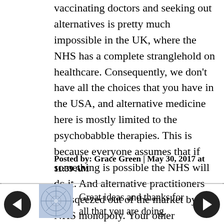vaccinating doctors and seeking out alternatives is pretty much impossible in the UK, where the NHS has a complete stranglehold on healthcare. Consequently, we don't have all the choices that you have in the USA, and alternative medicine here is mostly limited to the psychobabble therapies. This is because everyone assumes that if something is possible the NHS will do it. And alternative practitioners are sqeezed out of the market by the NHS monopoly. Your other suggestions I'll be thinking about though.
Posted by: Grace Green | May 30, 2017 at 11:39 AM
Great ideas and thanks for all that you are doing.